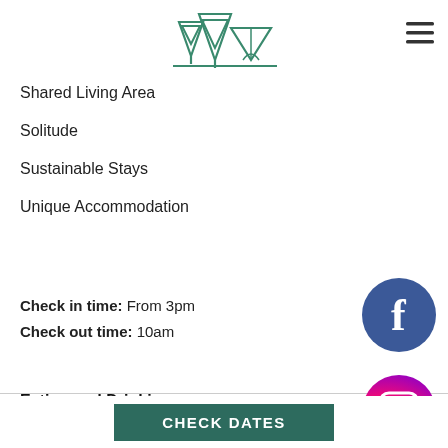[Figure (logo): Camping/outdoors logo with mountains, trees and tent outline in teal/green, with hamburger menu icon top right]
Shared Living Area
Solitude
Sustainable Stays
Unique Accommodation
Check in time: From 3pm
Check out time: 10am
[Figure (logo): Facebook circular logo icon in blue and white]
Eating and Drinking
The lodge has an on-site cafe and restaurant, ser... tasty and nutritious farm to table food. We do not
[Figure (logo): Instagram circular logo icon with gradient colors]
CHECK DATES